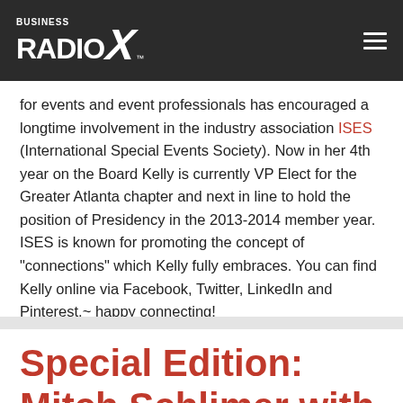Business Radio X
for events and event professionals has encouraged a longtime involvement in the industry association ISES (International Special Events Society). Now in her 4th year on the Board Kelly is currently VP Elect for the Greater Atlanta chapter and next in line to hold the position of Presidency in the 2013-2014 member year. ISES is known for promoting the concept of “connections” which Kelly fully embraces. You can find Kelly online via Facebook, Twitter, LinkedIn and Pinterest.~ happy connecting!
Uncategorized
2
Special Edition: Mitch Schlimer with